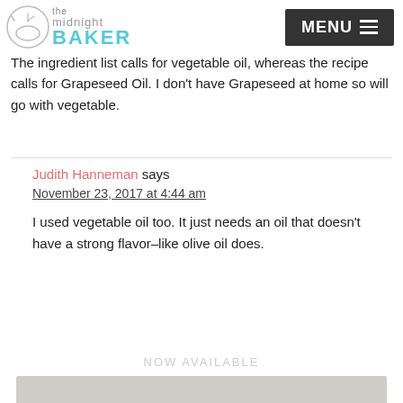The Midnight Baker — MENU
The ingredient list calls for vegetable oil, whereas the recipe calls for Grapeseed Oil. I don't have Grapeseed at home so will go with vegetable.
Judith Hanneman says
November 23, 2017 at 4:44 am
I used vegetable oil too. It just needs an oil that doesn't have a strong flavor–like olive oil does.
NOW AVAILABLE